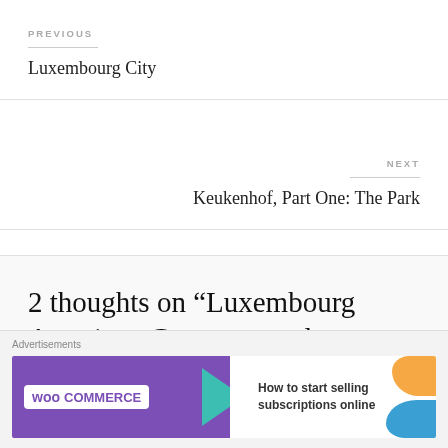PREVIOUS
Luxembourg City
NEXT
Keukenhof, Part One: The Park
2 thoughts on “Luxembourg American Cemetery and Memorial”
[Figure (other): WooCommerce advertisement banner: purple left panel with WooCommerce logo and teal arrow, right panel with text 'How to start selling subscriptions online' and orange/blue decorative shapes. Labeled 'Advertisements' above.]